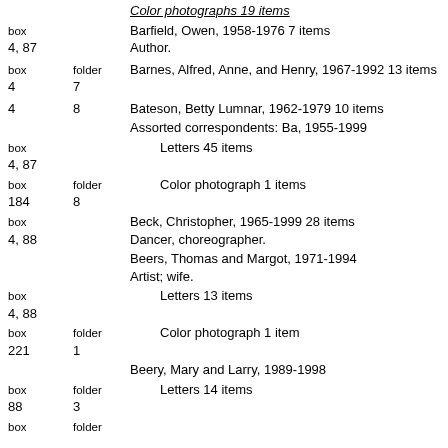Color photographs 19 items (partial, top of page)
box 4, 87 — Barfield, Owen, 1958-1976 7 items. Author.
box 4, folder 7 — Barnes, Alfred, Anne, and Henry, 1967-1992 13 items
box 4, folder 8 — Bateson, Betty Lumnar, 1962-1979 10 items
Assorted correspondents: Ba, 1955-1999
box 4, 87 — Letters 45 items
box 184, folder 8 — Color photograph 1 items
box 4, 88 — Beck, Christopher, 1965-1999 28 items. Dancer, choreographer.
Beers, Thomas and Margot, 1971-1994. Artist; wife.
box 4, 88 — Letters 13 items
box 221, folder 1 — Color photograph 1 item
Beery, Mary and Larry, 1989-1998
box 88, folder 3 — Letters 14 items
box ... folder ... (partial, bottom of page)